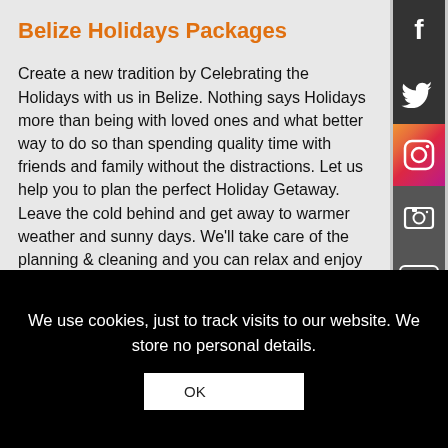Belize Holidays Packages
Create a new tradition by Celebrating the Holidays with us in Belize. Nothing says Holidays more than being with loved ones and what better way to do so than spending quality time with friends and family without the distractions. Let us help you to plan the perfect Holiday Getaway. Leave the cold behind and get away to warmer weather and sunny days. We'll take care of the planning & cleaning and you can relax and enjoy the season! Besides, it'll give you another reason to Celebrate with us and another reason...
[Figure (infographic): Right sidebar with social media icons: Facebook, Twitter, Instagram, Camera/Flickr, YouTube, Apple]
We use cookies, just to track visits to our website. We store no personal details.